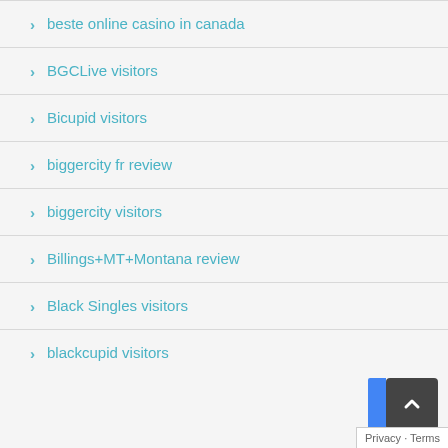beste online casino in canada
BGCLive visitors
Bicupid visitors
biggercity fr review
biggercity visitors
Billings+MT+Montana review
Black Singles visitors
blackcupid visitors